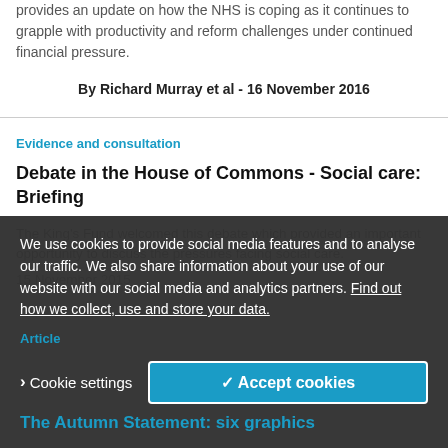provides an update on how the NHS is coping as it continues to grapple with productivity and reform challenges under continued financial pressure.
By Richard Murray et al - 16 November 2016
Evidence and consultation
Debate in the House of Commons - Social care: Briefing
The King's Fund welcomed this debate which provided an important opportunity to discuss the pressures facing social care.
15 November 2015
We use cookies to provide social media features and to analyse our traffic. We also share information about your use of our website with our social media and analytics partners. Find out how we collect, use and store your data.
Article
The Autumn Statement: six graphics